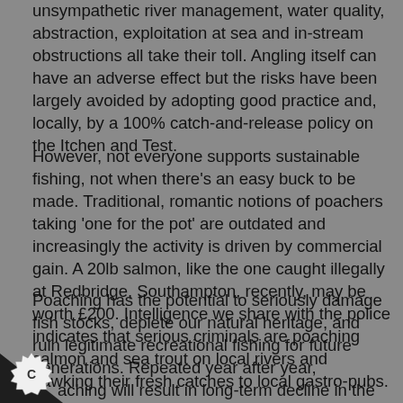unsympathetic river management, water quality, abstraction, exploitation at sea and in-stream obstructions all take their toll. Angling itself can have an adverse effect but the risks have been largely avoided by adopting good practice and, locally, by a 100% catch-and-release policy on the Itchen and Test.
However, not everyone supports sustainable fishing, not when there's an easy buck to be made. Traditional, romantic notions of poachers taking 'one for the pot' are outdated and increasingly the activity is driven by commercial gain. A 20lb salmon, like the one caught illegally at Redbridge, Southampton, recently, may be worth £200. Intelligence we share with the police indicates that serious criminals are poaching salmon and sea trout on local rivers and hawking their fresh catches to local gastro-pubs.
Poaching has the potential to seriously damage fish stocks, deplete our natural heritage, and ruin legitimate recreational fishing for future generations. Repeated year after year, poaching will result in long-term decline in the size and biological integrity of the local salmon population.  The salmon population is estimated at just 650 returning